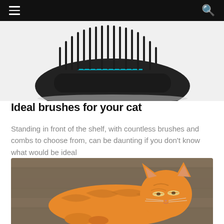[Figure (photo): Partial top view of a black bristle brush on white background]
Ideal brushes for your cat
Standing in front of the shelf, with countless brushes and combs to choose from, can be daunting if you don't know what would be ideal
[Figure (photo): Orange tabby cat lying on a wooden floor with eyes half closed, looking relaxed]